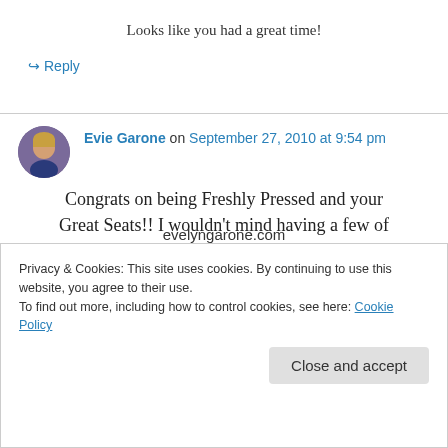Looks like you had a great time!
↪ Reply
Evie Garone on September 27, 2010 at 9:54 pm
Congrats on being Freshly Pressed and your Great Seats!! I wouldn't mind having a few of
Privacy & Cookies: This site uses cookies. By continuing to use this website, you agree to their use.
To find out more, including how to control cookies, see here: Cookie Policy
Close and accept
evelyngarone.com